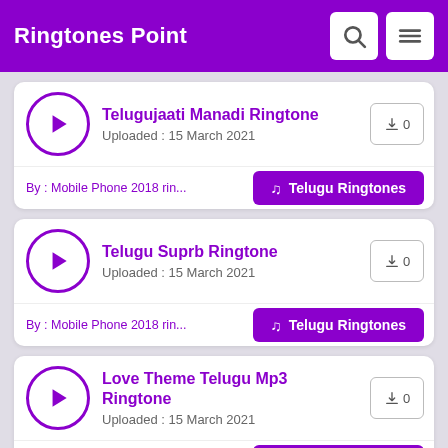Ringtones Point
Telugujaati Manadi Ringtone
Uploaded : 15 March 2021
By : Mobile Phone 2018 rin...
Telugu Ringtones
↓0
Telugu Suprb Ringtone
Uploaded : 15 March 2021
By : Mobile Phone 2018 rin...
Telugu Ringtones
↓0
Love Theme Telugu Mp3 Ringtone
Uploaded : 15 March 2021
By : Mobile Phone 2018 rin...
Telugu Ringtones
↓0